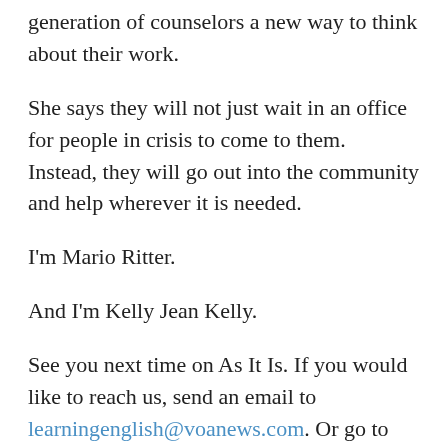generation of counselors a new way to think about their work.
She says they will not just wait in an office for people in crisis to come to them. Instead, they will go out into the community and help wherever it is needed.
I'm Mario Ritter.
And I'm Kelly Jean Kelly.
See you next time on As It Is. If you would like to reach us, send an email to learningenglish@voanews.com. Or go to our website at learningenglish.voanews.com and click on “Contact Us.”